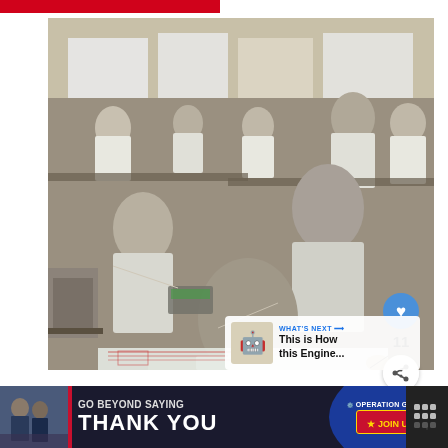[Figure (photo): Engineers in white lab coats working at drafting tables, drawing technical plans and blueprints in what appears to be an engineering design room. Multiple people visible from behind, leaning over large drawing boards with blueprints and technical drawings.]
[Figure (infographic): What's Next panel with robot/machine icon, label 'WHAT'S NEXT →', text 'This is How this Engine...']
[Figure (infographic): Advertisement banner: 'GO BEYOND SAYING THANK YOU' with Operation Gratitude logo and JOIN US button. Red white and blue patriotic design.]